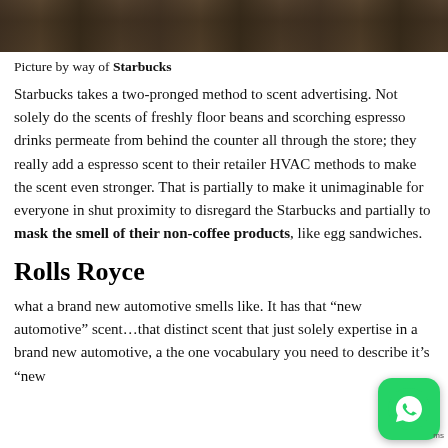[Figure (photo): Bottom strip of a photo showing what appears to be a Starbucks interior or exterior scene with wooden/brown tones]
Picture by way of Starbucks
Starbucks takes a two-pronged method to scent advertising. Not solely do the scents of freshly floor beans and scorching espresso drinks permeate from behind the counter all through the store; they really add a espresso scent to their retailer HVAC methods to make the scent even stronger. That is partially to make it unimaginable for everyone in shut proximity to disregard the Starbucks and partially to mask the smell of their non-coffee products, like egg sandwiches.
Rolls Royce
what a brand new automotive smells like. It has that “new automotive” scent…that distinct scent that just solely expertise in a brand new automotive, a the one vocabulary you need to describe it’s “new